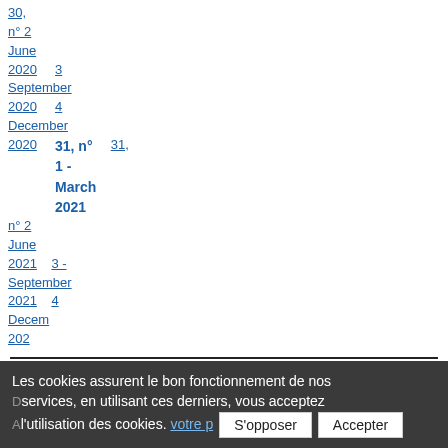30, n°2 June 2020   3 September 2020   4 December 2020   31, n°1 - March 2021   31, n°2 June 2021   3 - September 2021   4 Decem 202
Titre :
MIDIRS. MIDWIFERY DIGEST, VOL. 31, N° 1. - MARCH 2021
Type de document :
Bulletin
Paru le :
01/03/2021
Les cookies assurent le bon fonctionnement de nos services, en utilisant ces derniers, vous acceptez l'utilisation des cookies. votre p S'opposer Accepter